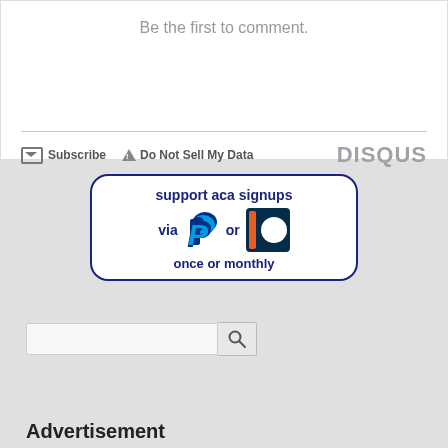Be the first to comment.
Subscribe  Do Not Sell My Data  DISQUS
[Figure (infographic): Support ACA signups via PayPal or Patreon, once or monthly donation box]
[Figure (other): Search bar with magnifying glass button]
State (dropdown)
Advertisement